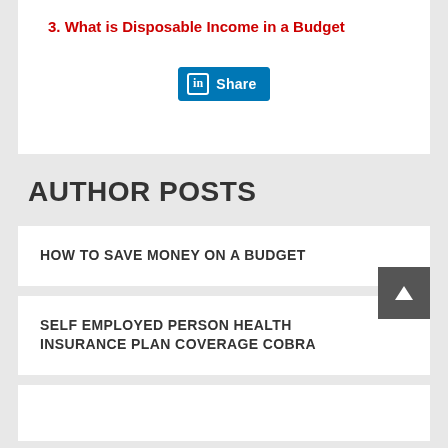3. What is Disposable Income in a Budget
[Figure (other): LinkedIn Share button]
AUTHOR POSTS
HOW TO SAVE MONEY ON A BUDGET
SELF EMPLOYED PERSON HEALTH INSURANCE PLAN COVERAGE COBRA